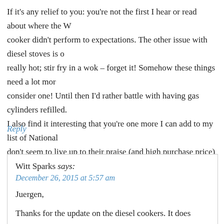If it's any relief to you: you're not the first I hear or read about where the Webasto cooker didn't perform to expectations. The other issue with diesel stoves is get really hot; stir fry in a wok – forget it! Somehow these things need a lot more consider one! Until then I'd rather battle with having gas cylinders refilled. I also find it interesting that you're one more I can add to my list of National don't seem to live up to their praise (and high purchase price) either… Happy camping in 2016!
Reply
Witt Sparks says:
December 26, 2015 at 5:57 am
Juergen,
Thanks for the update on the diesel cookers. It does indeed make me feel b could about them before I bought it and only heard good reviews. Even wh didn't like cooking on it. That's why I'm not going to invest any more effo